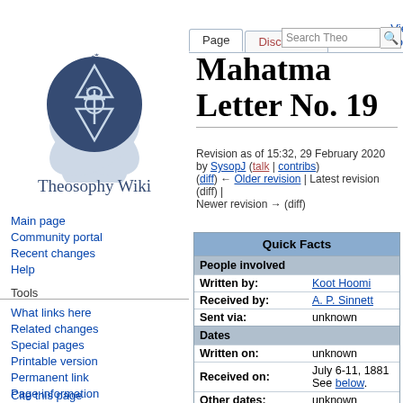Log in
[Figure (logo): Theosophy Wiki lotus and Star of David logo with Sanskrit text]
Theosophy Wiki
Mahatma Letter No. 19
Revision as of 15:32, 29 February 2020 by SysopJ (talk | contribs)
(diff) ← Older revision | Latest revision (diff) | Newer revision → (diff)
Main page
Community portal
Recent changes
Help
What links here
Related changes
Special pages
Printable version
Permanent link
Page information
Cite this page
| Quick Facts |  |
| --- | --- |
| People involved |  |
| Written by: | Koot Hoomi |
| Received by: | A. P. Sinnett |
| Sent via: | unknown |
| Dates |  |
| Written on: | unknown |
| Received on: | July 6-11, 1881 See below. |
| Other dates: | unknown |
| Places |  |
| Sent from: | unknown |
| Received at: | Bombay, India |